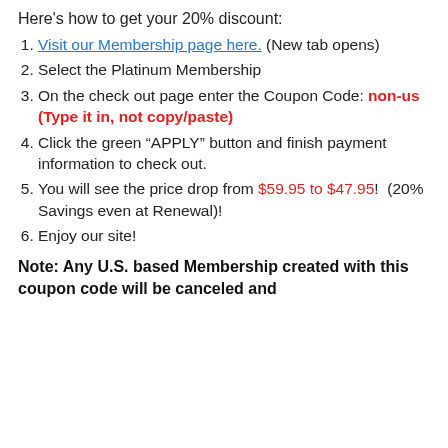Here's how to get your 20% discount:
Visit our Membership page here. (New tab opens)
Select the Platinum Membership
On the check out page enter the Coupon Code: non-us (Type it in, not copy/paste)
Click the green “APPLY” button and finish payment information to check out.
You will see the price drop from $59.95 to $47.95!  (20% Savings even at Renewal)!
Enjoy our site!
Note: Any U.S. based Membership created with this coupon code will be canceled and